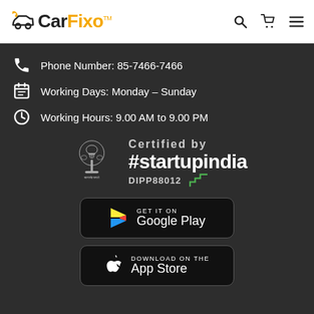[Figure (logo): CarFixo logo with wrench and car icon, search, cart, and hamburger menu icons in header]
Phone Number: 85-7466-7466
Working Days: Monday – Sunday
Working Hours: 9.00 AM to 9.00 PM
[Figure (logo): Certified by #startupindia DIPP88012 badge with Indian government emblem and green staircase logo]
[Figure (logo): GET IT ON Google Play button]
[Figure (logo): Download on the App Store button]